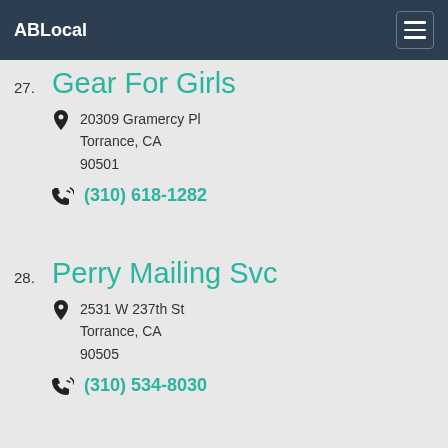ABLocal
27. Gear For Girls — 20309 Gramercy Pl, Torrance, CA 90501 — (310) 618-1282
28. Perry Mailing Svc — 2531 W 237th St, Torrance, CA 90505 — (310) 534-8030